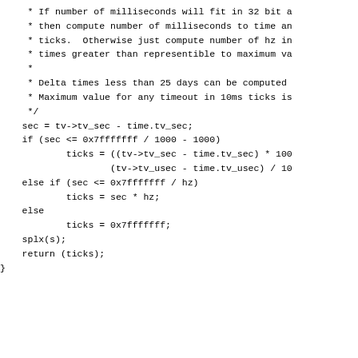* If number of milliseconds will fit in 32 bit a
 * then compute number of milliseconds to time an
 * ticks.  Otherwise just compute number of hz in
 * times greater than representible to maximum va
 *
 * Delta times less than 25 days can be computed
 * Maximum value for any timeout in 10ms ticks is
 */
sec = tv->tv_sec - time.tv_sec;
if (sec <= 0x7fffffff / 1000 - 1000)
        ticks = ((tv->tv_sec - time.tv_sec) * 100
                (tv->tv_usec - time.tv_usec) / 10
else if (sec <= 0x7fffffff / hz)
        ticks = sec * hz;
else
        ticks = 0x7fffffff;
splx(s);
return (ticks);
}